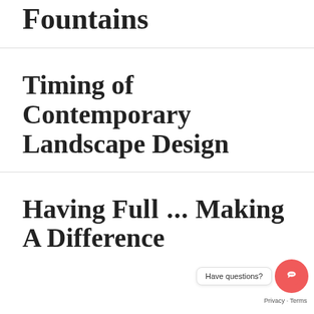Fountains
Timing of Contemporary Landscape Design
Having Fu... Making A Difference